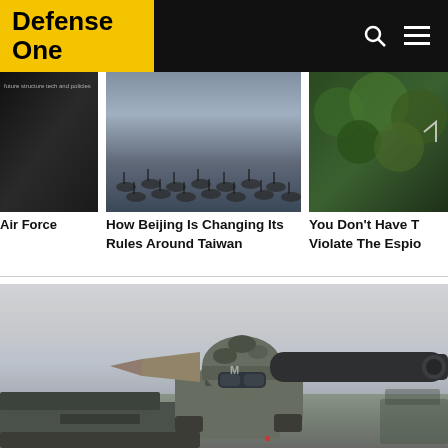Defense One
[Figure (photo): Dark image related to Air Force tech and policies]
Air Force
[Figure (photo): Rows of anti-landing obstacles on a beach, related to Beijing rules around Taiwan]
How Beijing Is Changing Its Rules Around Taiwan
[Figure (photo): Green foliage background, related to espionage article]
You Don't Have To Violate The Espio
[Figure (photo): Soldier in camouflage gear holding a rocket launcher on a military vehicle in foggy conditions]